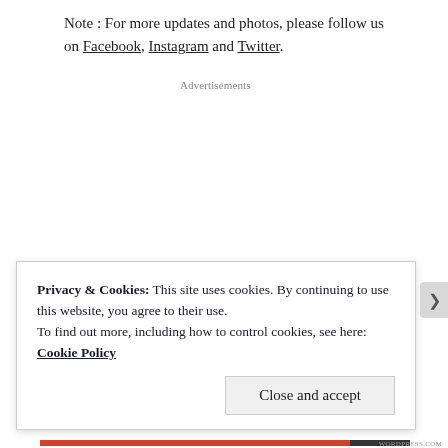Note : For more updates and photos, please follow us on Facebook, Instagram and Twitter.
Advertisements
Privacy & Cookies: This site uses cookies. By continuing to use this website, you agree to their use.
To find out more, including how to control cookies, see here: Cookie Policy
Close and accept